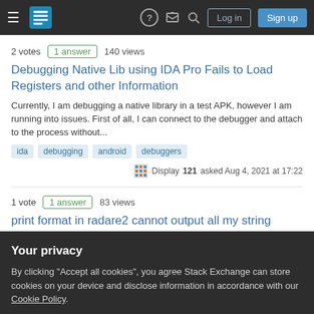Stack Exchange navigation bar with hamburger menu, logo, help, inbox, search icons, Log in and Sign up buttons
2 votes  1 answer  140 views
Debugging Native Lib using IDA Pro Fails to Load Registers and other Information
Currently, I am debugging a native library in a test APK, however I am running into issues. First of all, I can connect to the debugger and attach to the process without...
ida
debugging
android
debuggers
Display 121 asked Aug 4, 2021 at 17:22
1 vote  1 answer  83 views
print format in radare2 cannot output all my string
Your privacy
By clicking "Accept all cookies", you agree Stack Exchange can store cookies on your device and disclose information in accordance with our Cookie Policy.
Accept all cookies
Customize settings
'... Debugger undefined or null reference' error when